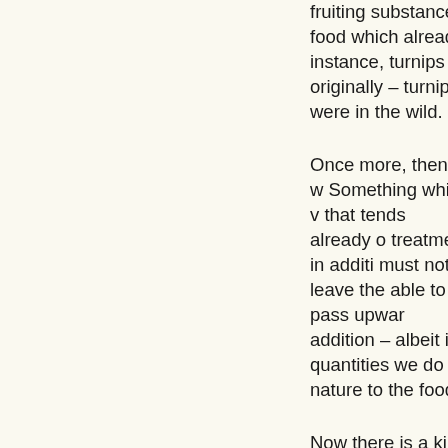fruiting substance food which already instance, turnips or originally – turnips were in the wild.
Once more, then, w Something which v that tends already o treatment in additi must not leave the able to pass upwar addition – albeit in quantities we do n nature to the food,
Now there is a kinc Generally speaking flower in relation t